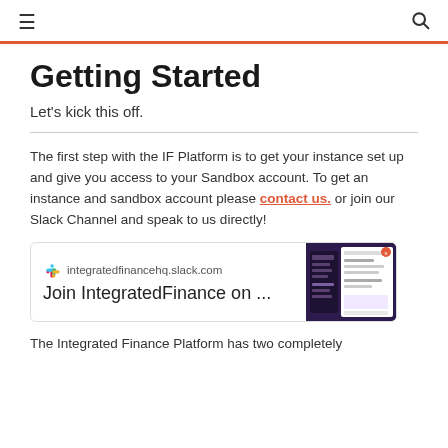≡  🔍
Getting Started
Let's kick this off.
The first step with the IF Platform is to get your instance set up and give you access to your Sandbox account. To get an instance and sandbox account please contact us. or join our Slack Channel and speak to us directly!
[Figure (screenshot): Slack channel preview card showing integratedfinancehq.slack.com with text 'Join IntegratedFinance on ...' and a dark-themed Slack screenshot thumbnail]
The Integrated Finance Platform has two completely